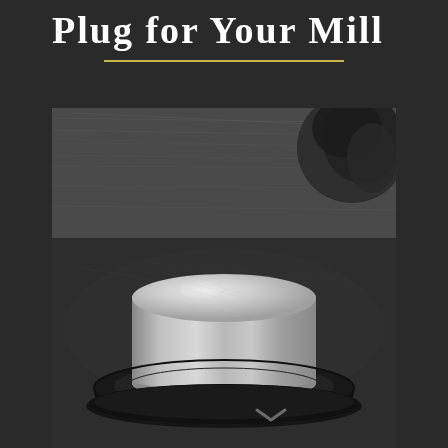Plug for Your Mill
[Figure (photo): A cylindrical metal plug (puck-shaped, machined steel or aluminum) sitting on a circular foam or rubber base ring, placed on a dark scratched metal surface. The background shows a ridged/scratched metal workbench surface with another piece of metal visible in the upper right corner. A navigation chevron/arrow is visible at the bottom of the image.]